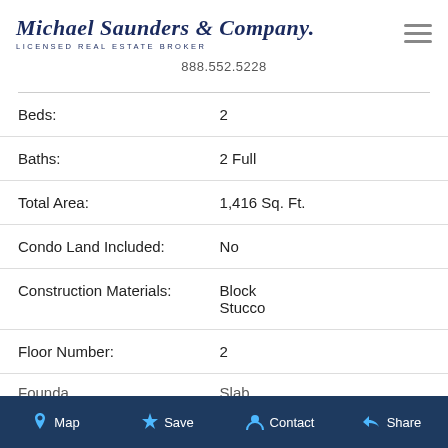Michael Saunders & Company. LICENSED REAL ESTATE BROKER
888.552.5228
| Field | Value |
| --- | --- |
| Beds: | 2 |
| Baths: | 2 Full |
| Total Area: | 1,416 Sq. Ft. |
| Condo Land Included: | No |
| Construction Materials: | Block
Stucco |
| Floor Number: | 2 |
| Foundation: | Slab |
Map  Save  Contact  Share